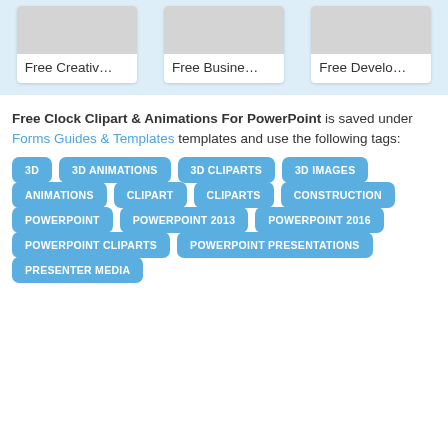[Figure (screenshot): Three card thumbnails labeled Free Creativ..., Free Busine..., Free Develo... on a light blue background]
Free Clock Clipart & Animations For PowerPoint is saved under Forms Guides & Templates templates and use the following tags:
3D
3D ANIMATIONS
3D CLIPARTS
3D IMAGES
ANIMATIONS
CLIPART
CLIPARTS
CONSTRUCTION
POWERPOINT
POWERPOINT 2013
POWERPOINT 2016
POWERPOINT CLIPARTS
POWERPOINT PRESENTATIONS
PRESENTER MEDIA